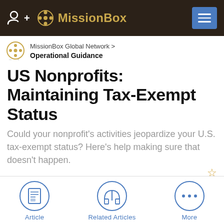MissionBox
MissionBox Global Network > Operational Guidance
US Nonprofits: Maintaining Tax-Exempt Status
Could your nonprofit's activities jeopardize your U.S. tax-exempt status? Here's help making sure that doesn't happen.
By Alexis Logsdon | Updated on June 6, 2019
Article   Related Articles   More